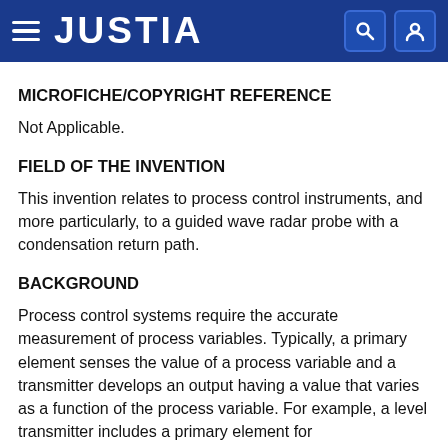JUSTIA
MICROFICHE/COPYRIGHT REFERENCE
Not Applicable.
FIELD OF THE INVENTION
This invention relates to process control instruments, and more particularly, to a guided wave radar probe with a condensation return path.
BACKGROUND
Process control systems require the accurate measurement of process variables. Typically, a primary element senses the value of a process variable and a transmitter develops an output having a value that varies as a function of the process variable. For example, a level transmitter includes a primary element for